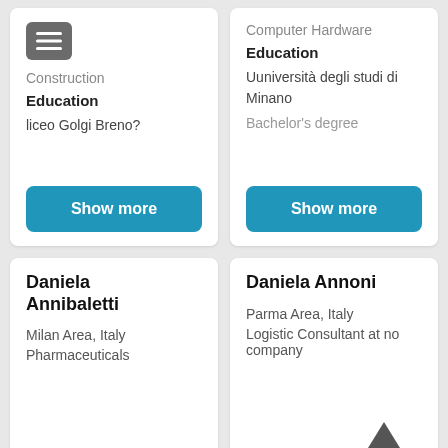[Figure (screenshot): Top-left card: menu icon button, industry 'Construction', Education section with 'liceo Golgi Breno?', and Show more button]
[Figure (screenshot): Top-right card: industry 'Computer Hardware', Education section with 'Uuniversità degli studi di Minano' and 'Bachelor's degree', and Show more button]
Daniela Annibaletti
Milan Area, Italy
Pharmaceuticals
Daniela Annoni
Parma Area, Italy
Logistic Consultant at no company